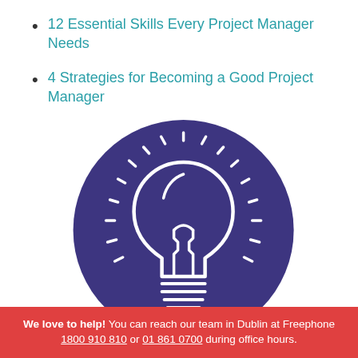12 Essential Skills Every Project Manager Needs
4 Strategies for Becoming a Good Project Manager
[Figure (illustration): A white line-art lightbulb icon on a purple/indigo circular background, with radiating lines suggesting illumination.]
We love to help! You can reach our team in Dublin at Freephone 1800 910 810 or 01 861 0700 during office hours.